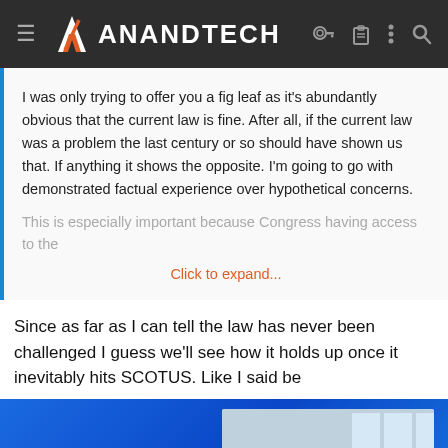AnandTech
I was only trying to offer you a fig leaf as it's abundantly obvious that the current law is fine. After all, if the current law was a problem the last century or so should have shown us that. If anything it shows the opposite. I'm going to go with demonstrated factual experience over hypothetical concerns.
This is especially important because Congress having access to the
Click to expand...
Since as far as I can tell the law has never been challenged I guess we'll see how it holds up once it inevitably hits SCOTUS. Like I said be
[Figure (screenshot): Best Buy advertisement banner with blue gradient background, Best Buy logo in white and yellow, Shop Now button in yellow, and a video thumbnail showing a person in an office/lounge setting]